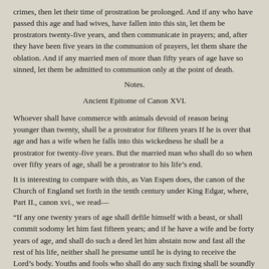crimes, then let their time of prostration be prolonged. And if any who have passed this age and had wives, have fallen into this sin, let them be prostrators twenty-five years, and then communicate in prayers; and, after they have been five years in the communion of prayers, let them share the oblation. And if any married men of more than fifty years of age have so sinned, let them be admitted to communion only at the point of death.
Notes.
Ancient Epitome of Canon XVI.
Whoever shall have commerce with animals devoid of reason being younger than twenty, shall be a prostrator for fifteen years If he is over that age and has a wife when he falls into this wickedness he shall be a prostrator for twenty-five years. But the married man who shall do so when over fifty years of age, shall be a prostrator to his life's end.
It is interesting to compare with this, as Van Espen does, the canon of the Church of England set forth in the tenth century under King Edgar, where, Part II., canon xvi., we read—
“If any one twenty years of age shall defile himself with a beast, or shall commit sodomy let him fast fifteen years; and if he have a wife and be forty years of age, and shall do such a deed let him abstain now and fast all the rest of his life, neither shall he presume until he is dying to receive the Lord’s body. Youths and fools who shall do any such fixing shall be soundly trounced.”
Canon XVII.
Defilers of themselves with beasts, being also leprous, who have infected others [with the leprosy of this crime], the holy Synod commands to pray among the hie-mantes.